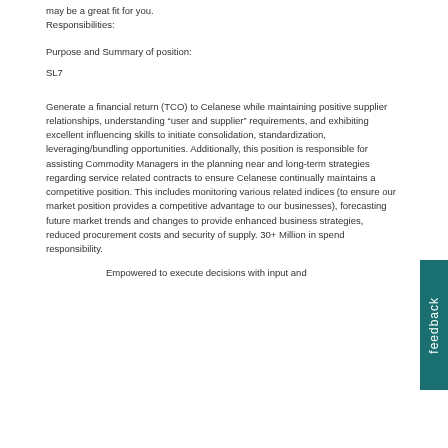may be a great fit for you.
Responsibilities:
Purpose and Summary of position:
SL7
Generate a financial return (TCO) to Celanese while maintaining positive supplier relationships, understanding “user and supplier” requirements, and exhibiting excellent influencing skills to initiate consolidation, standardization, leveraging/bundling opportunities. Additionally, this position is responsible for assisting Commodity Managers in the planning near and long-term strategies regarding service related contracts to ensure Celanese continually maintains a competitive position. This includes monitoring various related indices (to ensure our market position provides a competitive advantage to our businesses), forecasting future market trends and changes to provide enhanced business strategies, reduced procurement costs and security of supply. 30+ Million in spend responsibility.
Empowered to execute decisions with input and